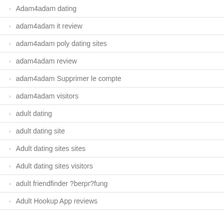Adam4adam dating
adam4adam it review
adam4adam poly dating sites
adam4adam review
adam4adam Supprimer le compte
adam4adam visitors
adult dating
adult dating site
Adult dating sites sites
Adult dating sites visitors
adult friendfinder ?berpr?fung
Adult Hookup App reviews